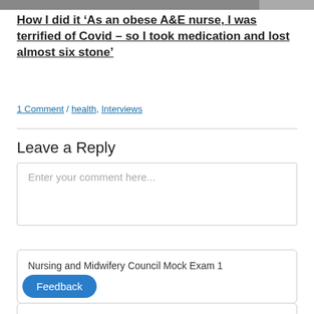[Figure (photo): Top portion of an image of people, cropped at the top of the page]
How I did it ‘As an obese A&E nurse, I was terrified of Covid – so I took medication and lost almost six stone’
1 Comment / health, Interviews
Leave a Reply
Enter your comment here...
Nursing and Midwifery Council Mock Exam 1
Feedback